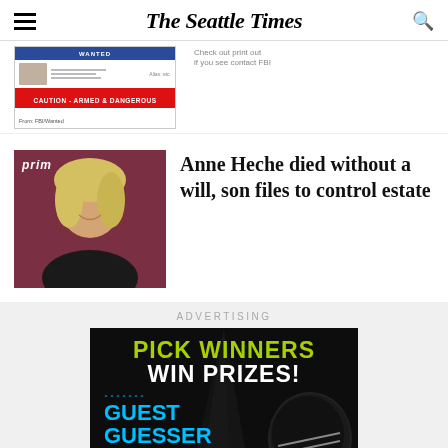The Seattle Times
[Figure (screenshot): Wanted notice snippet showing mugshot and 'CAUTION - ARMED & DANGEROUS' red bar]
Anne Heche died without a will, son files to control estate
[Figure (photo): Photo of Anne Heche smiling at Amazon Prime event, blonde hair, dark background]
ADVERTISING
[Figure (infographic): Advertisement banner: PICK WINNERS WIN PRIZES! Guest Guesser - The Seattle Times football game]